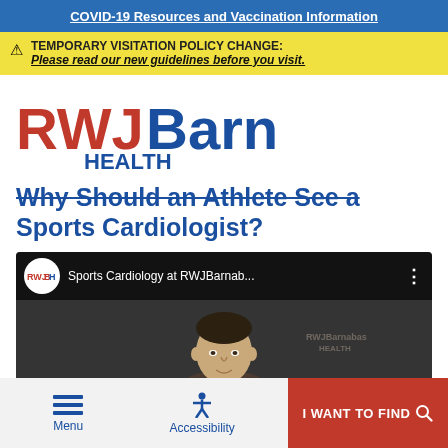COVID-19 Resources and Vaccination Information
TEMPORARY VISITATION POLICY CHANGE: Please read our new guidelines before you visit.
[Figure (logo): RWJBarnabas Health logo with red RWJ and blue Barnabas Health text]
Why Should an Athlete See a Sports Cardiologist?
[Figure (screenshot): YouTube video thumbnail for Sports Cardiology at RWJBarnab... with RWJBH channel icon and a person's face in the background]
Menu  Accessibility  I WANT TO FIND